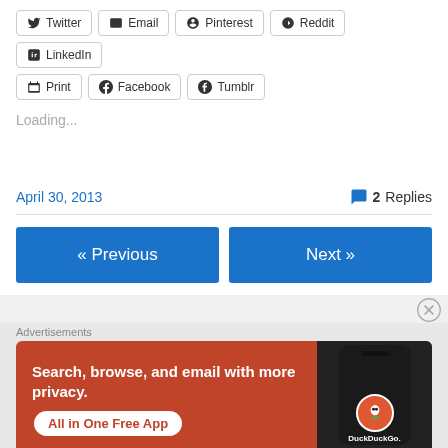Twitter
Email
Pinterest
Reddit
LinkedIn
Print
Facebook
Tumblr
Loading...
April 30, 2013
2 Replies
« Previous
Next »
Advertisements
[Figure (illustration): DuckDuckGo advertisement banner: orange/red background with text 'Search, browse, and email with more privacy. All in One Free App' and a smartphone image showing DuckDuckGo logo]